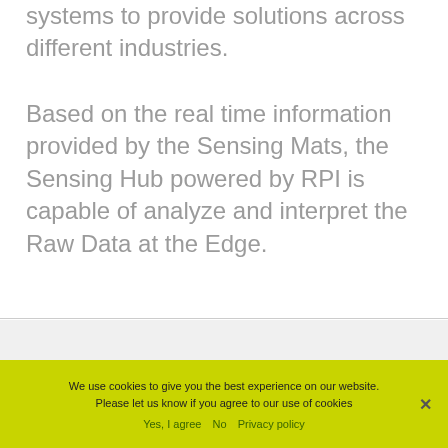systems to provide solutions across different industries.
Based on the real time information provided by the Sensing Mats, the Sensing Hub powered by RPI is capable of analyze and interpret the Raw Data at the Edge.
We use cookies to give you the best experience on our website. Please let us know if you agree to our use of cookies
Yes, I agree  No  Privacy policy